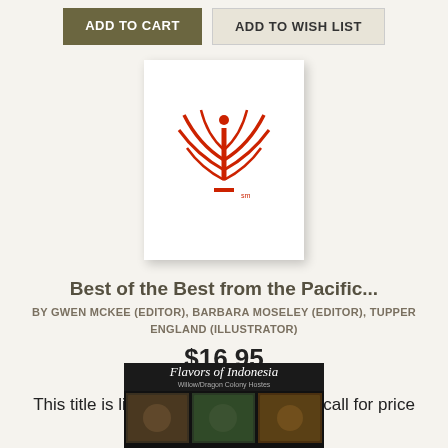[Figure (other): ADD TO CART and ADD TO WISH LIST buttons at top of page]
[Figure (logo): Book cover with red stylized letter i logo on white background]
Best of the Best from the Pacific...
BY GWEN MCKEE (EDITOR), BARBARA MOSELEY (EDITOR), TUPPER ENGLAND (ILLUSTRATOR)
$16.95
Availability:
This title is likely unavailable. Email or call for price and availability.
[Figure (photo): Book cover: Flavors of Indonesia - Willow/Dragon Colony Hostes with food photography collage]